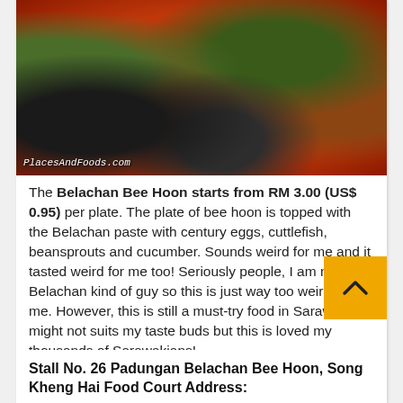[Figure (photo): Close-up photo of a bowl of Belachan Bee Hoon with dark broth, century eggs, beansprouts, and vegetables in an orange bowl. Watermark: PlacesAndFoods.com]
The Belachan Bee Hoon starts from RM 3.00 (US$ 0.95) per plate. The plate of bee hoon is topped with the Belachan paste with century eggs, cuttlefish, beansprouts and cucumber. Sounds weird for me and it tasted weird for me too! Seriously people, I am never a Belachan kind of guy so this is just way too weird for me. However, this is still a must-try food in Sarawak. It might not suits my taste buds but this is loved my thousands of Sarawakians!
Stall No. 26 Padungan Belachan Bee Hoon, Song Kheng Hai Food Court Address: